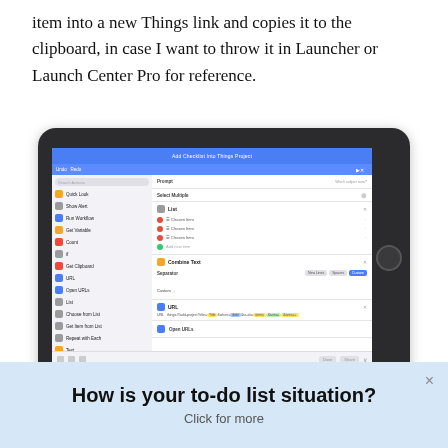item into a new Things link and copies it to the clipboard, in case I want to throw it in Launcher or Launch Center Pro for reference.
[Figure (screenshot): iPad screenshot showing the Workflow app with a workflow titled 'Add Checklist Into Things Project'. The left panel shows workflow actions including Quick Look, Show Alert, Run Workflow, Get Variable, Count, If, Get Clipboard, URL, Open URLs, List, Choose from List, Get Item from List, Repeat with Each, Text. The right panel shows a workflow configuration with sections for Prompt, Select Multiple, List with three chosen items and add new item, Combine Text with separator options (New Lines, Spaces, Custom), and URL construction with things:// URL scheme components, followed by Open URLs action.]
How is your to-do list situation?
Click for more